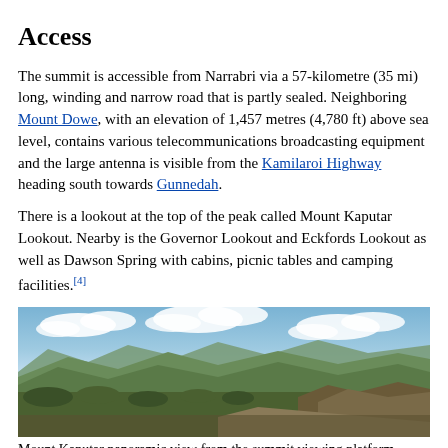Access
The summit is accessible from Narrabri via a 57-kilometre (35 mi) long, winding and narrow road that is partly sealed. Neighboring Mount Dowe, with an elevation of 1,457 metres (4,780 ft) above sea level, contains various telecommunications broadcasting equipment and the large antenna is visible from the Kamilaroi Highway heading south towards Gunnedah.
There is a lookout at the top of the peak called Mount Kaputar Lookout. Nearby is the Governor Lookout and Eckfords Lookout as well as Dawson Spring with cabins, picnic tables and camping facilities.[4]
[Figure (photo): Panoramic view from Mount Kaputar summit viewing platform showing mountain ranges, bush vegetation in foreground, and cloudy sky]
Mount Kaputar panoramic view from the summit viewing platform
Geology